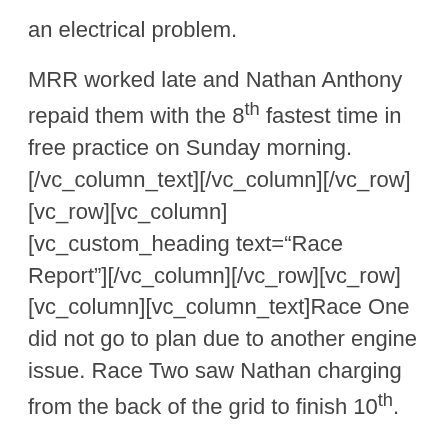an electrical problem.
MRR worked late and Nathan Anthony repaid them with the 8th fastest time in free practice on Sunday morning.[/vc_column_text][/vc_column][/vc_row][vc_row][vc_column][vc_custom_heading text="Race Report"][/vc_column][/vc_row][vc_row][vc_column][vc_column_text]Race One did not go to plan due to another engine issue. Race Two saw Nathan charging from the back of the grid to finish 10th.
The final race was eventful and after a safety car incident, Nathan got the MRR-prepared race van into the lead. This was held for two laps but an oil leak from the #7 car of Miles Rudman landed on Nathan's windscreen. This led to a few detours off the track before a successful"Nathan's